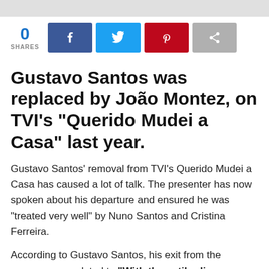[Figure (other): Gray top bar decorative strip]
[Figure (infographic): Social share bar showing 0 SHARES count and four social media buttons: Facebook (blue), Twitter (light blue), Pinterest (red), Share (gray)]
Gustavo Santos was replaced by João Montez, on TVI's “Querido Mudei a Casa” last year.
Gustavo Santos’ removal from TVI’s Querido Mudei a Casa has caused a lot of talk. The presenter has now spoken about his departure and ensured he was “treated very well” by Nuno Santos and Cristina Ferreira.
According to Gustavo Santos, his exit from the program was related to “With the antibodies you created, within